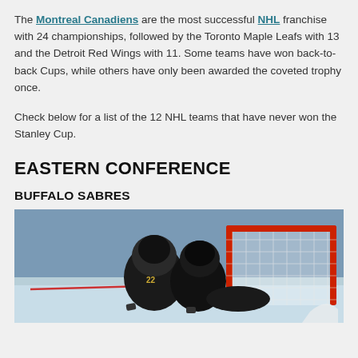The Montreal Canadiens are the most successful NHL franchise with 24 championships, followed by the Toronto Maple Leafs with 13 and the Detroit Red Wings with 11. Some teams have won back-to-back Cups, while others have only been awarded the coveted trophy once.
Check below for a list of the 12 NHL teams that have never won the Stanley Cup.
EASTERN CONFERENCE
BUFFALO SABRES
[Figure (photo): A hockey game photo showing players in black uniforms near a red-framed goal net on an ice surface.]